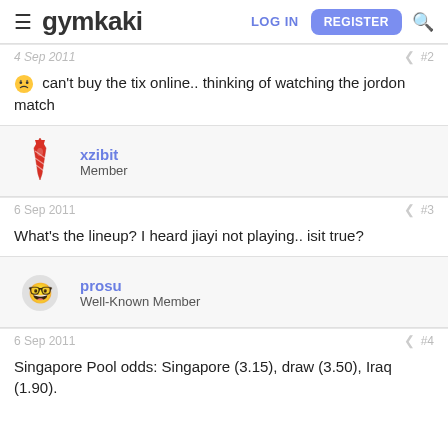gymkaki — LOG IN | REGISTER
4 Sep 2011  #2
😕 can't buy the tix online.. thinking of watching the jordon match
xzibit — Member
6 Sep 2011  #3
What's the lineup? I heard jiayi not playing.. isit true?
prosu — Well-Known Member
6 Sep 2011  #4
Singapore Pool odds: Singapore (3.15), draw (3.50), Iraq (1.90).